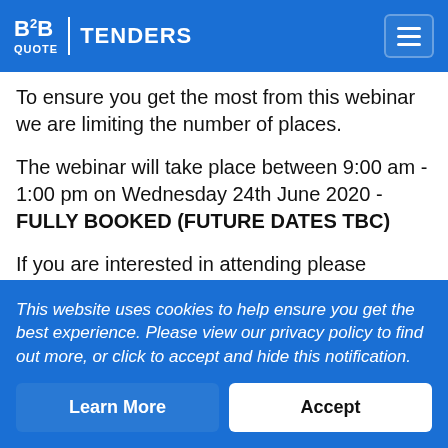B2B QUOTE | TENDERS
To ensure you get the most from this webinar we are limiting the number of places.
The webinar will take place between 9:00 am - 1:00 pm on Wednesday 24th June 2020 - FULLY BOOKED (FUTURE DATES TBC)
If you are interested in attending please register
This website uses cookies to help ensure you get the best experience. Please view our privacy policy to find out more, or click to accept and hide this notification.
Learn More
Accept